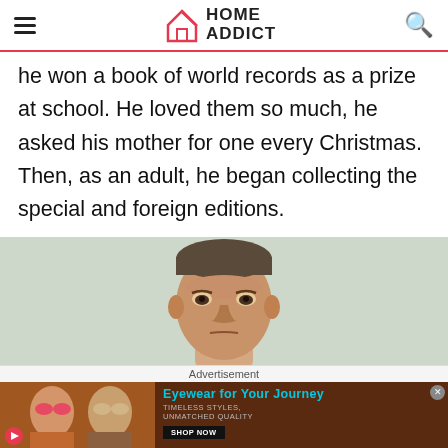HOME ADDICT
he won a book of world records as a prize at school. He loved them so much, he asked his mother for one every Christmas. Then, as an adult, he began collecting the special and foreign editions.
[Figure (photo): Man's face against light greenish-grey background, stern expression]
Advertisement
[Figure (infographic): Advertisement banner: Eyewear for Your Journey - Timeless Styles, Unmatched Quality - Shop Now button. Two women wearing sunglasses on left side.]